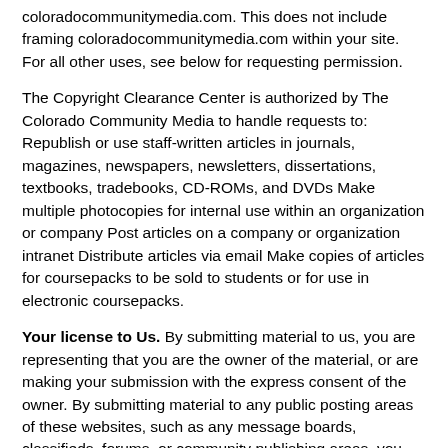coloradocommunitymedia.com. This does not include framing coloradocommunitymedia.com within your site. For all other uses, see below for requesting permission.
The Copyright Clearance Center is authorized by The Colorado Community Media to handle requests to: Republish or use staff-written articles in journals, magazines, newspapers, newsletters, dissertations, textbooks, tradebooks, CD-ROMs, and DVDs Make multiple photocopies for internal use within an organization or company Post articles on a company or organization intranet Distribute articles via email Make copies of articles for coursepacks to be sold to students or for use in electronic coursepacks.
Your license to Us. By submitting material to us, you are representing that you are the owner of the material, or are making your submission with the express consent of the owner. By submitting material to any public posting areas of these websites, such as any message boards, classifieds, forums, or community publishing areas, you agree that we (including our partners, agents, affiliates and service providers (collectively, 'Third Party Providers'), may